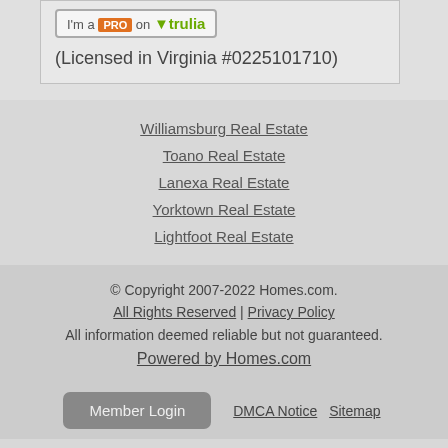[Figure (logo): Trulia PRO badge - 'I'm a PRO on trulia']
(Licensed in Virginia #0225101710)
Williamsburg Real Estate
Toano Real Estate
Lanexa Real Estate
Yorktown Real Estate
Lightfoot Real Estate
© Copyright 2007-2022 Homes.com. All Rights Reserved | Privacy Policy All information deemed reliable but not guaranteed. Powered by Homes.com
Member Login   DMCA Notice   Sitemap